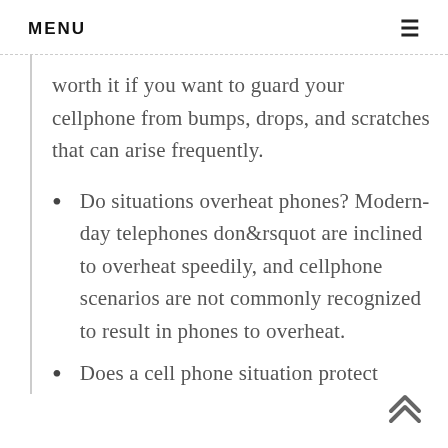MENU
worth it if you want to guard your cellphone from bumps, drops, and scratches that can arise frequently.
Do situations overheat phones? Modern-day telephones don&rsquot are inclined to overheat speedily, and cellphone scenarios are not commonly recognized to result in phones to overheat.
Does a cell phone situation protect